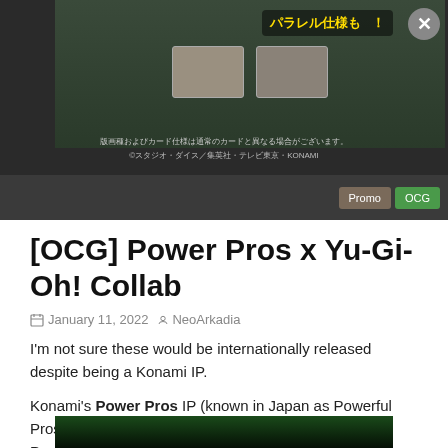[Figure (screenshot): Top banner showing Yu-Gi-Oh OCG Power Pros card images with Japanese text and a close button]
[OCG] Power Pros x Yu-Gi-Oh! Collab
January 11, 2022   NeoArkadia
I'm not sure these would be internationally released despite being a Konami IP.
Konami's Power Pros IP (known in Japan as Powerful Pros Yakyuu) is doing a crossover with Yu-Gi-Oh! with Power Pros' current mobile phone game
[Figure (screenshot): Bottom partial screenshot showing green glowing card game image]